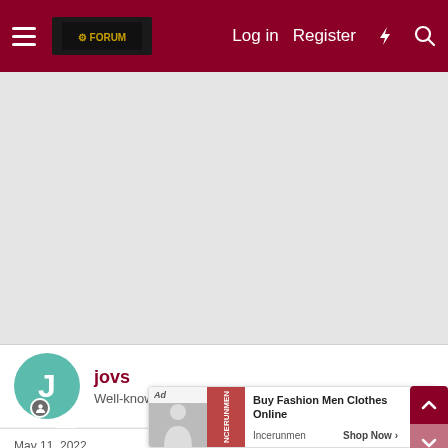Log in  Register
[Figure (other): Gray advertisement placeholder area]
jovs
Well-known member
May 11, 2022
USAF said:
MN fin
[Figure (other): Bottom ad banner: Buy Fashion Men Clothes Online - Incerunmen, Shop Now]